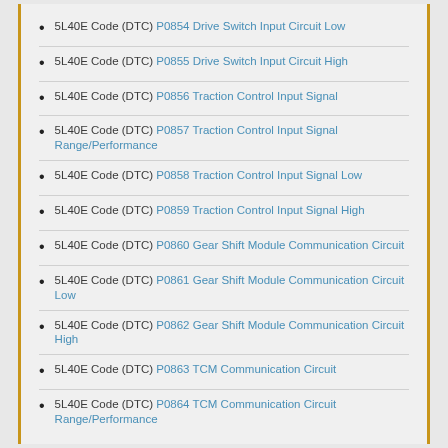5L40E Code (DTC) P0854 Drive Switch Input Circuit Low
5L40E Code (DTC) P0855 Drive Switch Input Circuit High
5L40E Code (DTC) P0856 Traction Control Input Signal
5L40E Code (DTC) P0857 Traction Control Input Signal Range/Performance
5L40E Code (DTC) P0858 Traction Control Input Signal Low
5L40E Code (DTC) P0859 Traction Control Input Signal High
5L40E Code (DTC) P0860 Gear Shift Module Communication Circuit
5L40E Code (DTC) P0861 Gear Shift Module Communication Circuit Low
5L40E Code (DTC) P0862 Gear Shift Module Communication Circuit High
5L40E Code (DTC) P0863 TCM Communication Circuit
5L40E Code (DTC) P0864 TCM Communication Circuit Range/Performance